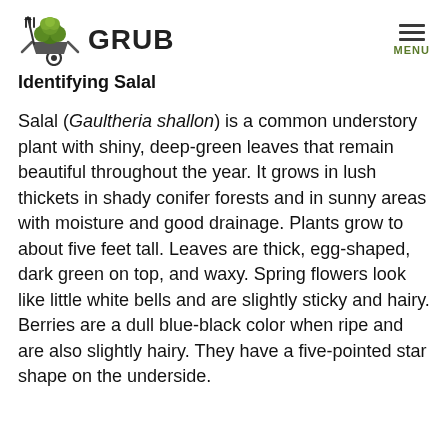[Figure (logo): GRUB logo: a stylized green plant/broccoli head on a wheelbarrow with a pitchfork, text GRUB in bold]
Identifying Salal
Salal (Gaultheria shallon) is a common understory plant with shiny, deep-green leaves that remain beautiful throughout the year. It grows in lush thickets in shady conifer forests and in sunny areas with moisture and good drainage. Plants grow to about five feet tall. Leaves are thick, egg-shaped, dark green on top, and waxy. Spring flowers look like little white bells and are slightly sticky and hairy. Berries are a dull blue-black color when ripe and are also slightly hairy. They have a five-pointed star shape on the underside.